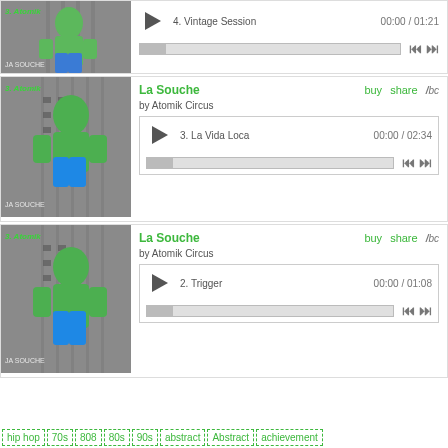[Figure (screenshot): Partial music player block at top showing track 4 Vintage Session 00:00/01:21 with album art of green robot figure, play button, progress bar and navigation controls]
[Figure (screenshot): Music player block for La Souche by Atomik Circus showing track 3 La Vida Loca 00:00/02:34 with album art, buy/share/bc links, play button, progress bar and navigation controls]
[Figure (screenshot): Music player block for La Souche by Atomik Circus showing track 2 Trigger 00:00/01:08 with album art, buy/share/bc links, play button, progress bar and navigation controls]
hip hop 70s 808 80s 90s abstract Abstract achievement